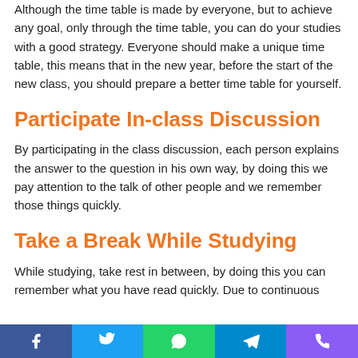Although the time table is made by everyone, but to achieve any goal, only through the time table, you can do your studies with a good strategy. Everyone should make a unique time table, this means that in the new year, before the start of the new class, you should prepare a better time table for yourself.
Participate In-class Discussion
By participating in the class discussion, each person explains the answer to the question in his own way, by doing this we pay attention to the talk of other people and we remember those things quickly.
Take a Break While Studying
While studying, take rest in between, by doing this you can remember what you have read quickly. Due to continuous
Social share buttons: Facebook, Twitter, WhatsApp, Telegram, Phone